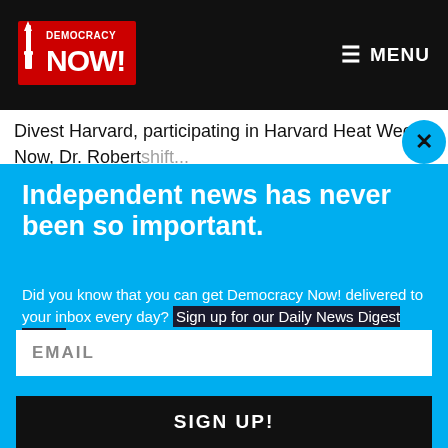[Figure (logo): Democracy Now! logo in red and white on black background, with Statue of Liberty torch icon]
≡ MENU
Divest Harvard, participating in Harvard Heat Week. Now, Dr. Robert...
Independent news has never been so important.
Did you know that you can get Democracy Now! delivered to your inbox every day? Sign up for our Daily News Digest today! Don't worry, we'll never share or sell your information.
EMAIL
SIGN UP!